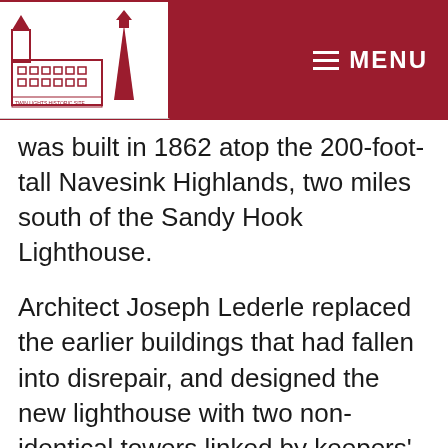[Figure (logo): Twin Lights / historic lighthouse logo in red and white with building silhouette]
was built in 1862 atop the 200-foot-tall Navesink Highlands, two miles south of the Sandy Hook Lighthouse.
Architect Joseph Lederle replaced the earlier buildings that had fallen into disrepair, and designed the new lighthouse with two non-identical towers linked by keepers' quarters and storage rooms.
This unique design made it easy to distinguish Twin Lights from other nearby